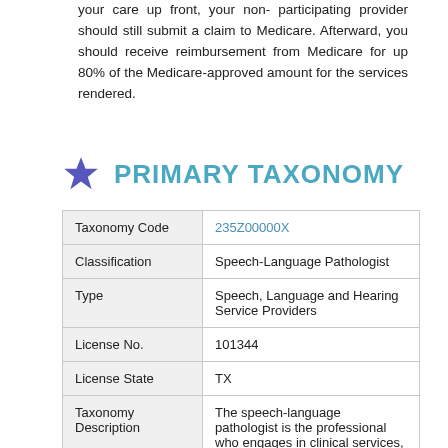your care up front, your non-participating provider should still submit a claim to Medicare. Afterward, you should receive reimbursement from Medicare for up 80% of the Medicare-approved amount for the services rendered.
PRIMARY TAXONOMY
| Taxonomy Code | 235Z00000X |
| Classification | Speech-Language Pathologist |
| Type | Speech, Language and Hearing Service Providers |
| License No. | 101344 |
| License State | TX |
| Taxonomy Description | The speech-language pathologist is the professional who engages in clinical services, prevention, advocacy, education |